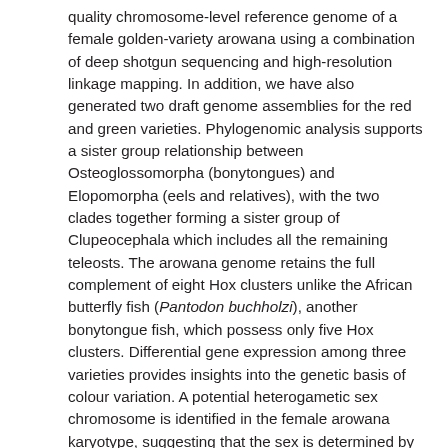quality chromosome-level reference genome of a female golden-variety arowana using a combination of deep shotgun sequencing and high-resolution linkage mapping. In addition, we have also generated two draft genome assemblies for the red and green varieties. Phylogenomic analysis supports a sister group relationship between Osteoglossomorpha (bonytongues) and Elopomorpha (eels and relatives), with the two clades together forming a sister group of Clupeocephala which includes all the remaining teleosts. The arowana genome retains the full complement of eight Hox clusters unlike the African butterfly fish (Pantodon buchholzi), another bonytongue fish, which possess only five Hox clusters. Differential gene expression among three varieties provides insights into the genetic basis of colour variation. A potential heterogametic sex chromosome is identified in the female arowana karyotype, suggesting that the sex is determined by a ZW/ZZ sex chromosomal system. The high-quality reference genome of the golden arowana and the draft assemblies of the red and green varieties are valuable resources for understanding the biology, adaptation and behaviour of Asian arowanas.